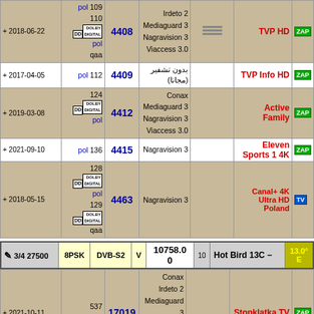| Date | PID/Info | SID | Encryption | Flag | Channel Name | ZAP |
| --- | --- | --- | --- | --- | --- | --- |
| + 2018-06-22 | pol 109
110
[DD] pol
qaa | 4408 | Irdeto 2
Mediaguard 3
Nagravision 3
Viaccess 3.0 | [hamb] | TVP HD | [ZAP] |
| + 2017-04-05 | pol 112 | 4409 | بدون تشفير (مجانا) |  | TVP Info HD | [ZAP] |
| + 2019-03-08 | 124
[DD]
Mediaguard pol | 4412 | Conax
Mediaguard 3
Nagravision 3
Viaccess 3.0 |  | Active Family | [ZAP] |
| + 2021-09-10 | pol 136 | 4415 | Nagravision 3 |  | Eleven Sports 1 4K | [ZAP] |
| + 2018-05-15 | 128
[DD]
pol 129
[DD]
qaa | 4463 | Nagravision 3 |  | Canal+ 4K Ultra HD Poland | [TV] |
| FEC SR | MOD | STD | POL | FREQ | NID | Satellite | Position |
| --- | --- | --- | --- | --- | --- | --- | --- |
| 3/4 27500 | 8PSK | DVB-S2 | V | 10758.0
0 | 10 | Hot Bird 13C | 13.0° E |
| Date | PID/Info | SID | Encryption | Flag | Channel Name | ZAP |
| --- | --- | --- | --- | --- | --- | --- |
| + 2021-10-11 | 537
pol | 17019 | Conax
Irdeto 2
Mediaguard 3
Nagravision 3
Viaccess 3.0 |  | Stopklatka TV | [ZAP] |
| + 2022-07-09 | 548
pol | 17024 | Irdeto 2
Nagravision 3 |  | Da Vinci Learning | [ZAP] |
| 2022-07-12 | 561
pol | 17031 | Conax
Irdeto 2
Mediaguard 3
Nagravision 3
Viaccess 3.0 |  | TestM |  |